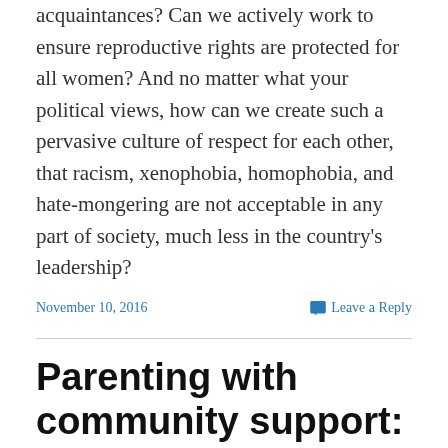acquaintances? Can we actively work to ensure reproductive rights are protected for all women? And no matter what your political views, how can we create such a pervasive culture of respect for each other, that racism, xenophobia, homophobia, and hate-mongering are not acceptable in any part of society, much less in the country's leadership?
November 10, 2016    Leave a Reply
Parenting with community support: Our experience in Tanzania